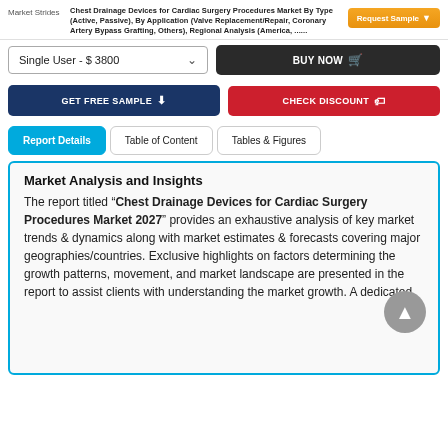Market Strides | Chest Drainage Devices for Cardiac Surgery Procedures Market By Type (Active, Passive), By Application (Valve Replacement/Repair, Coronary Artery Bypass Grafting, Others), Regional Analysis (America, ......
Single User - $ 3800
BUY NOW
GET FREE SAMPLE
CHECK DISCOUNT
Report Details | Table of Content | Tables & Figures
Market Analysis and Insights
The report titled “Chest Drainage Devices for Cardiac Surgery Procedures Market 2027” provides an exhaustive analysis of key market trends & dynamics along with market estimates & forecasts covering major geographies/countries. Exclusive highlights on factors determining the growth patterns, movement, and market landscape are presented in the report to assist clients with understanding the market growth. A dedicated